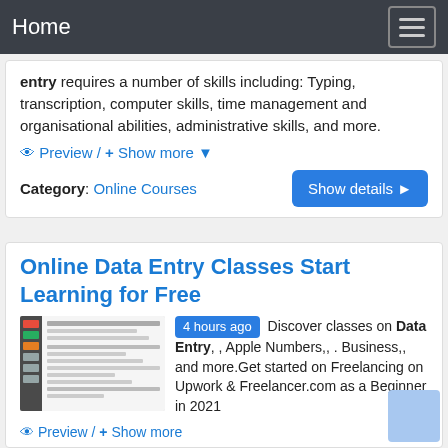Home
entry requires a number of skills including: Typing, transcription, computer skills, time management and organisational abilities, administrative skills, and more.
👁 Preview / + Show more ▼
Category: Online Courses
Online Data Entry Classes Start Learning for Free
4 hours ago Discover classes on Data Entry, , Apple Numbers,, . Business,, and more.Get started on Freelancing on Upwork &amp; Freelancer.com as a Beginner in 2021
👁 Preview / + Show more